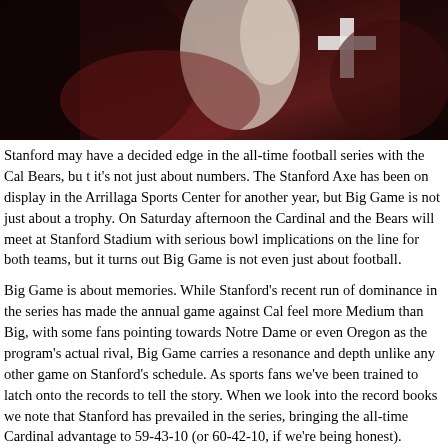[Figure (photo): Football players in dark maroon/cardinal uniforms with white gloves and a white cross visible on jersey, dark background]
Stanford may have a decided edge in the all-time football series with the Cal Bears, but it's not just about numbers. The Stanford Axe has been on display in the Arrillaga Sports Center for another year, but Big Game is not just about a trophy. On Saturday afternoon the Cardinal and the Bears will meet at Stanford Stadium with serious bowl implications on the line for both teams, but it turns out Big Game is not even just about football.
Big Game is about memories. While Stanford's recent run of dominance in the series has made the annual game against Cal feel more Medium than Big, with some fans pointing towards Notre Dame or even Oregon as the program's actual rival, Big Game carries a resonance and depth unlike any other game on Stanford's schedule. As sports fans we've been trained to latch onto the records to tell the story. When we look into the record books we note that Stanford has prevailed in the series, bringing the all-time Cardinal advantage to 59-43-10 (or 60-42-10, if we're being honest).
But there's so much more to the history of the game than statistics. Big Game endures because of those involved and the memories they pass down from one generation to the next, stories told during reunions and tailgates, stories from the field, the locker room, the press box, and the stands. In fact, the stories are so good that they transcend the games and become talking points f